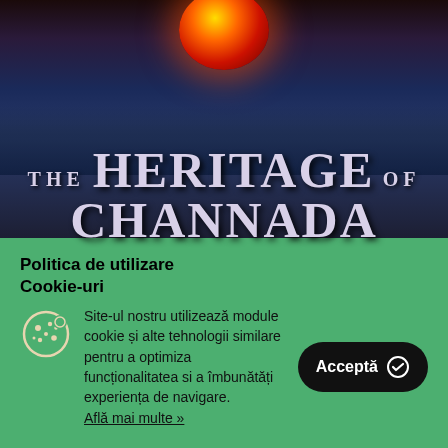[Figure (illustration): Book cover for 'The Heritage of Channada' showing a dark fantasy scene with a glowing red orb/planet at top, city silhouette in the background, and large white serif text displaying the title.]
Politica de utilizare Cookie-uri
Site-ul nostru utilizează module cookie și alte tehnologii similare pentru a optimiza funcționalitatea si a îmbunătăți experiența de navigare.
Află mai multe »
Acceptă ✓